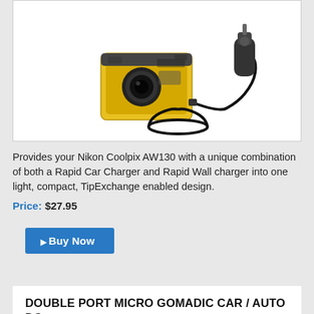[Figure (photo): Yellow Nikon Coolpix AW130 camera connected via cable to a black car charger/cigarette lighter adapter]
Provides your Nikon Coolpix AW130 with a unique combination of both a Rapid Car Charger and Rapid Wall charger into one light, compact, TipExchange enabled design.
Price: $27.95
Buy Now
DOUBLE PORT MICRO GOMADIC CAR / AUTO DC CHARGER SUITABLE FOR THE NIKON COOLPIX AW130 - CHARGES UP TO 2 DEVICES